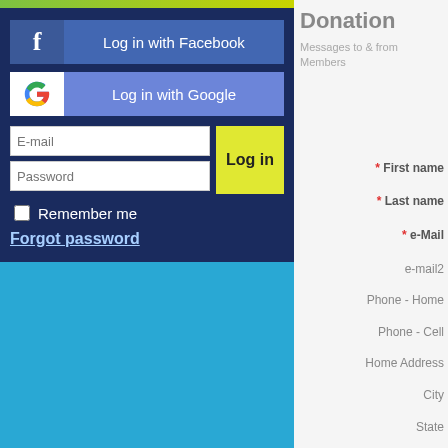[Figure (screenshot): Login form with Facebook and Google login buttons, email/password fields, Remember me checkbox, and Forgot password link on a dark blue background over cyan background]
Donation
Messages to & from Members
* First name
* Last name
* e-Mail
e-mail2
Phone - Home
Phone - Cell
Home Address
City
State
ZIP / Postal Code